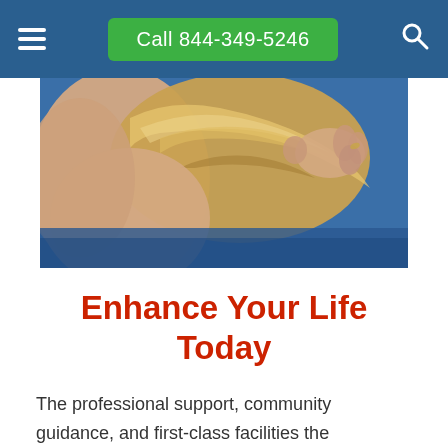Call 844-349-5246
[Figure (photo): A person with blonde hair lying face down receiving a chiropractic or massage treatment, with a hand visible near their neck/head area. Blue surface visible in background.]
Enhance Your Life Today
The professional support, community guidance, and first-class facilities the behavioral health centers in Glide,